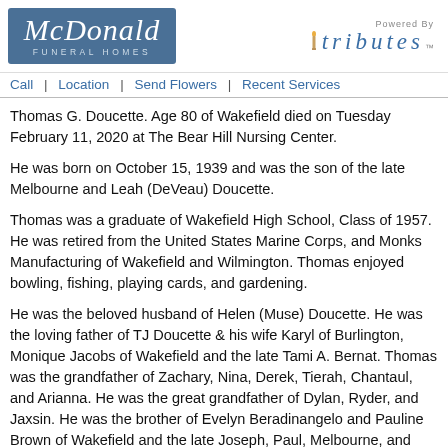[Figure (logo): McDonald Funeral Homes logo on blue background with script text]
[Figure (logo): Powered By tributes logo with candle flame icon]
Call | Location | Send Flowers | Recent Services
Thomas G. Doucette. Age 80 of Wakefield died on Tuesday February 11, 2020 at The Bear Hill Nursing Center.
He was born on October 15, 1939 and was the son of the late Melbourne and Leah (DeVeau) Doucette.
Thomas was a graduate of Wakefield High School, Class of 1957. He was retired from the United States Marine Corps, and Monks Manufacturing of Wakefield and Wilmington. Thomas enjoyed bowling, fishing, playing cards, and gardening.
He was the beloved husband of Helen (Muse) Doucette. He was the loving father of TJ Doucette & his wife Karyl of Burlington, Monique Jacobs of Wakefield and the late Tami A. Bernat. Thomas was the grandfather of Zachary, Nina, Derek, Tierah, Chantaul, and Arianna. He was the great grandfather of Dylan, Ryder, and Jaxsin. He was the brother of Evelyn Beradinangelo and Pauline Brown of Wakefield and the late Joseph, Paul, Melbourne, and Norman